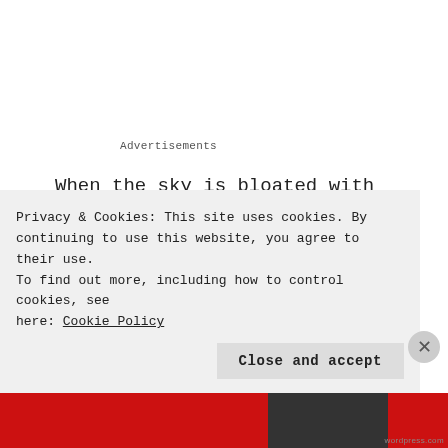Advertisements
When the sky is bloated with gray clouds,
and the rain does not drip drops,
but bubbles like cursed membranes….
Did they have faces?
even if they did, those would be dark
Privacy & Cookies: This site uses cookies. By continuing to use this website, you agree to their use. To find out more, including how to control cookies, see here: Cookie Policy
Close and accept